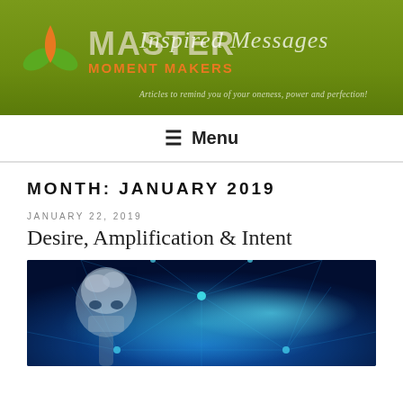Master Moment Makers — Inspired Messages — Articles to remind you of your oneness, power and perfection!
☰ Menu
MONTH: JANUARY 2019
JANUARY 22, 2019
Desire, Amplification & Intent
[Figure (photo): Digital illustration of a robotic skeleton head with a visible brain, against a blue glowing neural network / sacred geometry background]